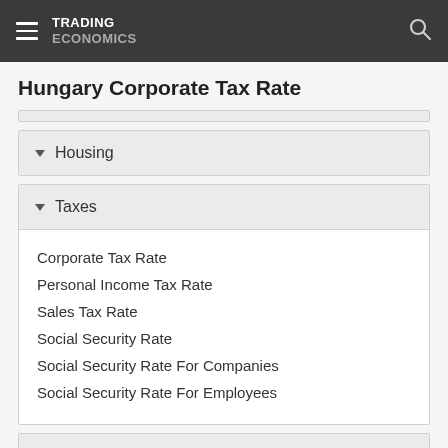TRADING ECONOMICS
Hungary Corporate Tax Rate
Housing
Taxes
Corporate Tax Rate
Personal Income Tax Rate
Sales Tax Rate
Social Security Rate
Social Security Rate For Companies
Social Security Rate For Employees
Climate
More Indicators